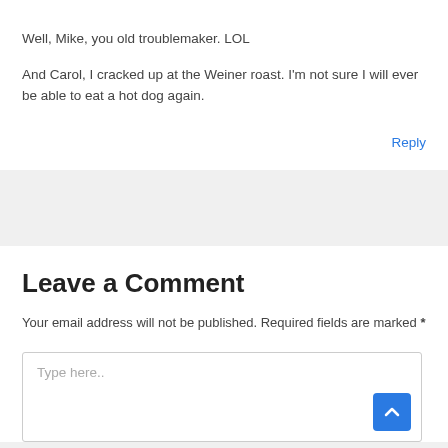Well, Mike, you old troublemaker. LOL
And Carol, I cracked up at the Weiner roast. I'm not sure I will ever be able to eat a hot dog again.
Reply
Leave a Comment
Your email address will not be published. Required fields are marked *
Type here..